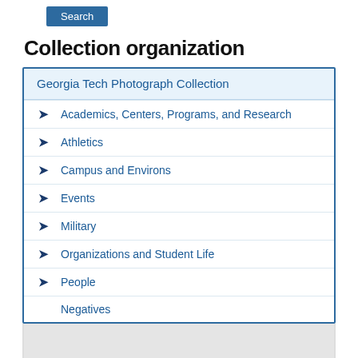Search
Collection organization
Georgia Tech Photograph Collection
Academics, Centers, Programs, and Research
Athletics
Campus and Environs
Events
Military
Organizations and Student Life
People
Negatives